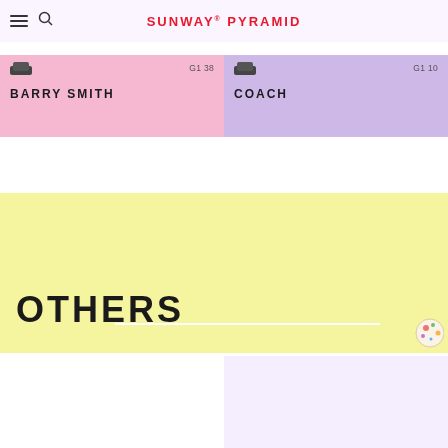SUNWAY PYRAMID
BARRY SMITH G1 38
COACH G1 10
OTHERS
[Figure (illustration): Decorative pizza/food illustration in bottom right of yellow section]